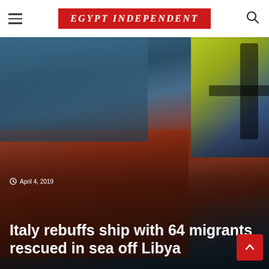EGYPT INDEPENDENT
[Figure (photo): Aerial or close-up view of migrants in an inflatable rescue boat at sea, one person wearing a yellow-green life vest visible in the upper right, with orange/red boat hull and dark water visible.]
April 4, 2019
Italy rebuffs ship with 64 migrants rescued in sea off Libya